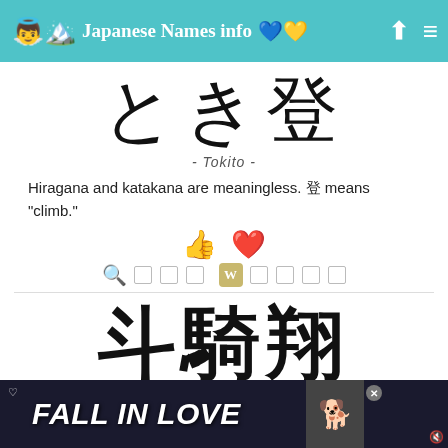Japanese Names info 🇺🇦
[Figure (illustration): Large handwritten-style Japanese kanji and kana characters: と き 登]
- Tokito -
Hiragana and katakana are meaningless. 登 means "climb."
[Figure (illustration): Action icons: thumbs up (teal) and heart (pink/red)]
[Figure (illustration): Search and Wikipedia icon rows with small square boxes]
[Figure (illustration): Large bold kanji characters: 斗 騎 翔]
- Tokito -
[Figure (infographic): Advertisement banner: FALL IN LOVE with dog image]